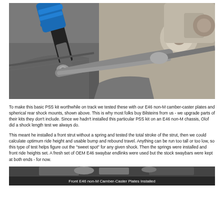[Figure (photo): Close-up photo of a blue coilover strut/shock absorber installed in a car's front suspension, showing the blue spring perch and black shock body alongside control arms and steering knuckle components.]
To make this basic PSS kit worthwhile on track we tested these with our E46 non-M camber-caster plates and spherical rear shock mounts, shown above. This is why most folks buy Bilsteins from us - we upgrade parts of their kits they don't include. Since we hadn't installed this particular PSS kit on an E46 non-M chassis, Olof did a shock length test we always do.
This meant he installed a front strut without a spring and tested the total stroke of the strut, then we could calculate optimum ride height and usable bump and rebound travel. Anything can be run too tall or too low, so this type of test helps figure out the "sweet spot" for any given shock. Then the springs were installed and front ride heights set. A fresh set of OEM E46 swaybar endlinks were used but the stock swaybars were kept at both ends - for now.
[Figure (photo): Partial photo at the bottom showing camber-caster plates installed, with caption text visible at the bottom edge.]
Front E46 non-M Camber-Caster Plates Installed